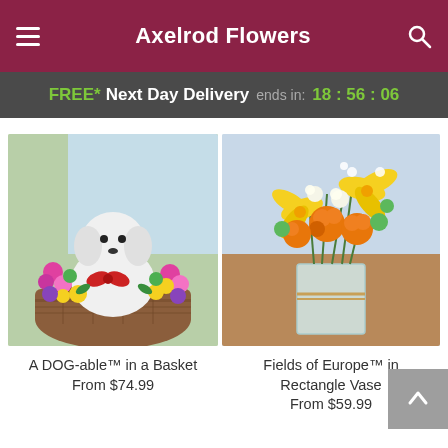Axelrod Flowers
FREE* Next Day Delivery ends in: 18:56:06
[Figure (photo): A DOG-able flower arrangement shaped like a white dog in a wicker basket surrounded by colorful flowers]
A DOG-able™ in a Basket
From $74.99
[Figure (photo): Fields of Europe flower bouquet with orange roses and yellow lilies in a rectangle glass vase]
Fields of Europe™ in Rectangle Vase
From $59.99